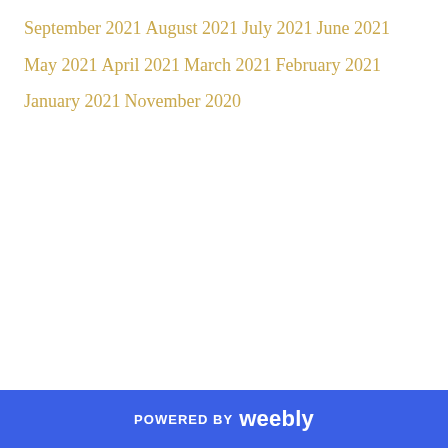September 2021
August 2021
July 2021
June 2021
May 2021
April 2021
March 2021
February 2021
January 2021
November 2020
POWERED BY weebly